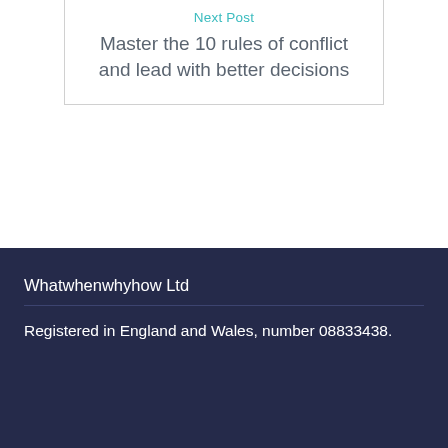Next Post
Master the 10 rules of conflict and lead with better decisions
Whatwhenwhyhow Ltd
Registered in England and Wales, number 08833438.